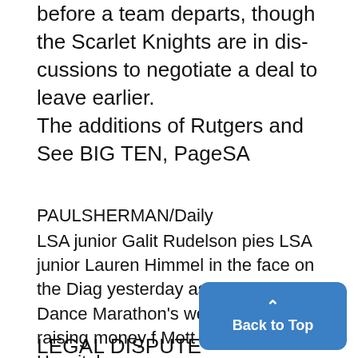before a team departs, though the Scarlet Knights are in discussions to negotiate a deal to leave earlier. The additions of Rutgers and See BIG TEN, PageSA
PAULSHERMAN/Daily LSA junior Galit Rudelson pies LSA junior Lauren Himmel in the face on the Diag yesterday as a part of Dance Marathon's week of events raising money for Mott Children's Hospital.
LEGAL DISPUTE